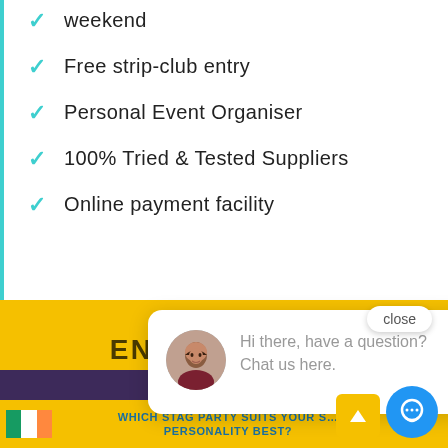weekend
Free strip-club entry
Personal Event Organiser
100% Tried & Tested Suppliers
Online payment facility
ENQUIRE NOW
[Figure (screenshot): Chat popup with avatar photo of a woman and message: Hi there, have a question? Chat us here.]
close
HOTEL B&B £119
WHICH STAG PARTY SUITS YOUR STAG'S PERSONALITY BEST?